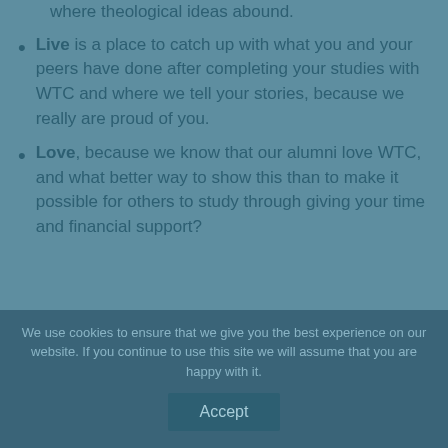Live is a place to catch up with what you and your peers have done after completing your studies with WTC and where we tell your stories, because we really are proud of you.
Love, because we know that our alumni love WTC, and what better way to show this than to make it possible for others to study through giving your time and financial support?
We use cookies to ensure that we give you the best experience on our website. If you continue to use this site we will assume that you are happy with it.